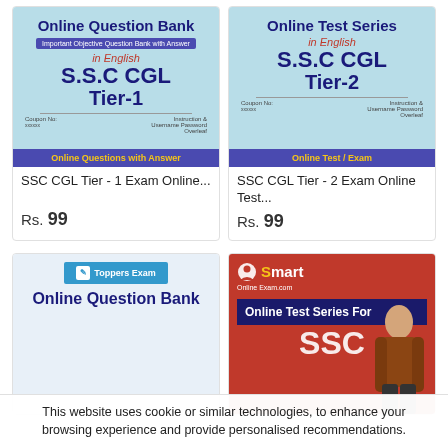[Figure (illustration): Book cover: Online Question Bank, Important Objective Question Bank with Answer, in English, S.S.C CGL Tier-1, Online Questions with Answer]
SSC CGL Tier - 1 Exam Online...
Rs. 99
[Figure (illustration): Book cover: Online Test Series in English, S.S.C CGL Tier-2, Online Test / Exam]
SSC CGL Tier - 2 Exam Online Test...
Rs. 99
[Figure (illustration): Toppers Exam logo, Online Question Bank cover]
[Figure (illustration): Smart Online Exam.com, Online Test Series For SSC, with woman in photo]
This website uses cookie or similar technologies, to enhance your browsing experience and provide personalised recommendations.